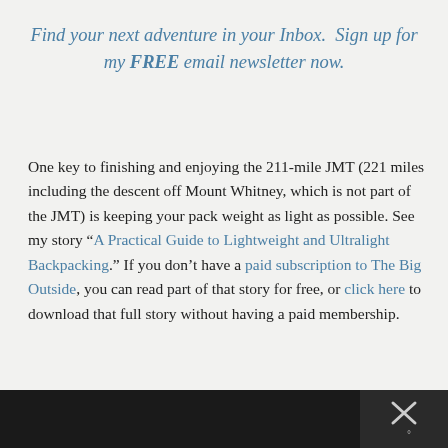Find your next adventure in your Inbox. Sign up for my FREE email newsletter now.
One key to finishing and enjoying the 211-mile JMT (221 miles including the descent off Mount Whitney, which is not part of the JMT) is keeping your pack weight as light as possible. See my story “A Practical Guide to Lightweight and Ultralight Backpacking.” If you don’t have a paid subscription to The Big Outside, you can read part of that story for free, or click here to download that full story without having a paid membership.